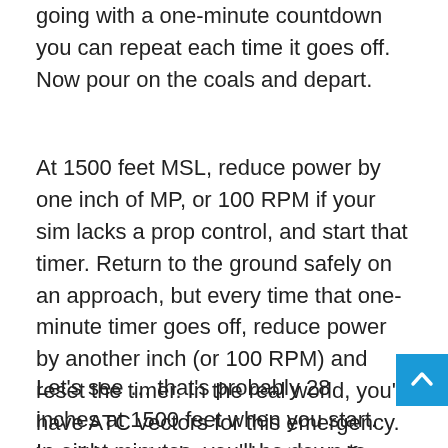going with a one-minute countdown you can repeat each time it goes off. Now pour on the coals and depart.
At 1500 feet MSL, reduce power by one inch of MP, or 100 RPM if your sim lacks a prop control, and start that timer. Return to the ground safely on an approach, but every time that one-minute timer goes off, reduce power by another inch (or 100 RPM) and reset the timer. In the real world, you'd have ATC vectors for this emergency. You'll have to do your best to self vector with the moving map today.
Let's see … that's probably 28 inches at 1500 feet when you start. In eight minutes, you'll be down to 20 inches and might